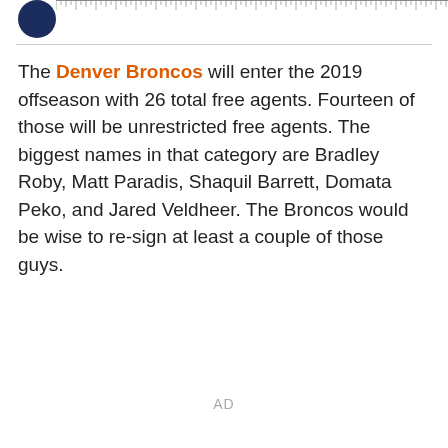[Figure (logo): Denver Broncos dark blue circular logo partially visible in top left corner, with a ruler/measurement strip to the right]
The Denver Broncos will enter the 2019 offseason with 26 total free agents. Fourteen of those will be unrestricted free agents. The biggest names in that category are Bradley Roby, Matt Paradis, Shaquil Barrett, Domata Peko, and Jared Veldheer. The Broncos would be wise to re-sign at least a couple of those guys.
AD